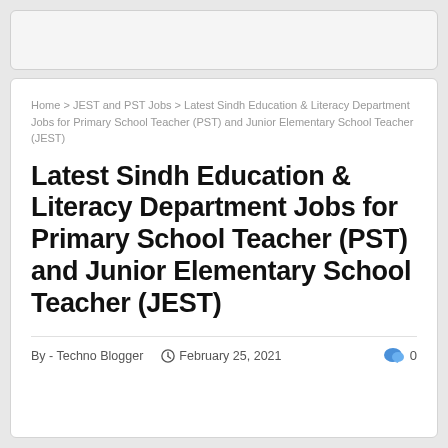[Figure (other): Top gray placeholder box / advertisement area]
Home > JEST and PST Jobs > Latest Sindh Education & Literacy Department Jobs for Primary School Teacher (PST) and Junior Elementary School Teacher (JEST)
Latest Sindh Education & Literacy Department Jobs for Primary School Teacher (PST) and Junior Elementary School Teacher (JEST)
By - Techno Blogger   February 25, 2021   0